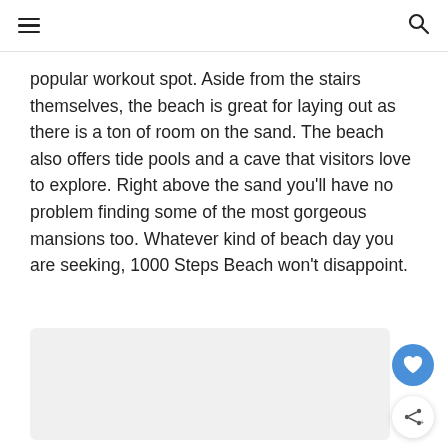[hamburger menu] [search icon]
popular workout spot. Aside from the stairs themselves, the beach is great for laying out as there is a ton of room on the sand. The beach also offers tide pools and a cave that visitors love to explore. Right above the sand you'll have no problem finding some of the most gorgeous mansions too. Whatever kind of beach day you are seeking, 1000 Steps Beach won't disappoint.
[Figure (photo): Light grey placeholder image area for a beach photo]